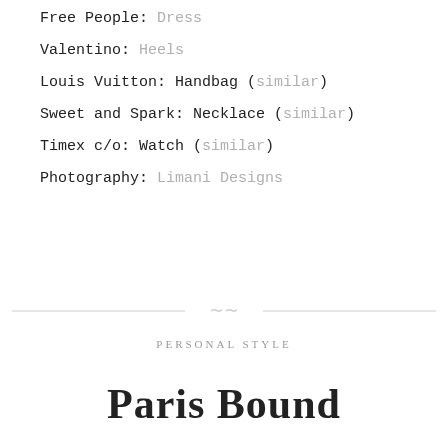Free People: Dress
Valentino: Heels
Louis Vuitton: Handbag (similar)
Sweet and Spark: Necklace (similar)
Timex c/o: Watch (similar)
Photography: Limani Designs
PERSONAL STYLE